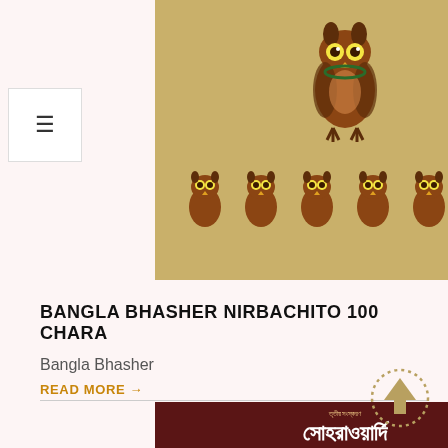[Figure (illustration): Traditional Indian owl figurines / Kalighat-style folk art on beige background — one large owl above and five smaller owls below]
BANGLA BHASHER NIRBACHITO 100 CHARA
Bangla Bhasher
READ MORE →
[Figure (illustration): Book cover of Sohrawardi by Ahmed Miraz — dark red/maroon cover with Bengali title text and horizontal stripes, portrait of a person below]